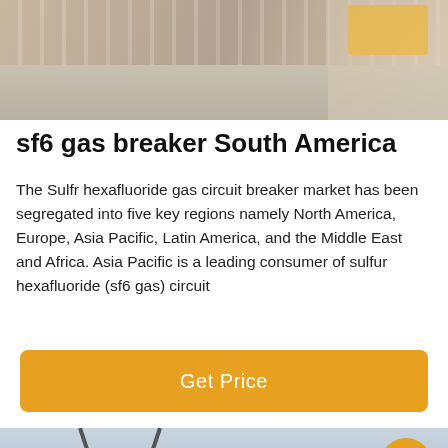[Figure (photo): Photo of a road with white bollards/markers along the side and a yellow vehicle visible at top right]
sf6 gas breaker South America
The Sulfr hexafluoride gas circuit breaker market has been segregated into five key regions namely North America, Europe, Asia Pacific, Latin America, and the Middle East and Africa. Asia Pacific is a leading consumer of sulfur hexafluoride (sf6 gas) circuit
[Figure (infographic): Orange/amber 'Get Price' call-to-action button]
[Figure (photo): Photo of electrical transmission towers/power lines with a customer service representative avatar circle and bottom navigation bar with 'Leave Message' and 'Chat Online' options]